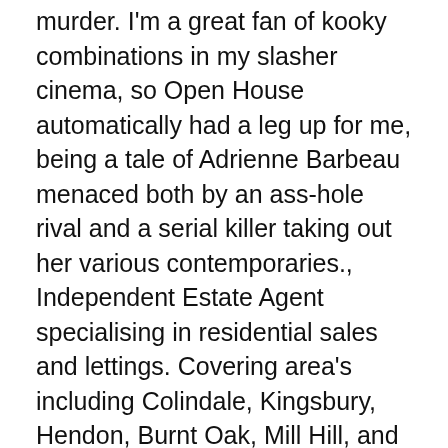murder. I'm a great fan of kooky combinations in my slasher cinema, so Open House automatically had a leg up for me, being a tale of Adrienne Barbeau menaced both by an ass-hole rival and a serial killer taking out her various contemporaries., Independent Estate Agent specialising in residential sales and lettings. Covering area's including Colindale, Kingsbury, Hendon, Burnt Oak, Mill Hill, and Edgware and dealing with properties ranging from city based studio apartments to detached country retreats, Open Homes will find the right home for you..
REAL ESTATE AGENTS IN QUEENSLAND OPENAGENT
Apartments Town Houses and Villas on the